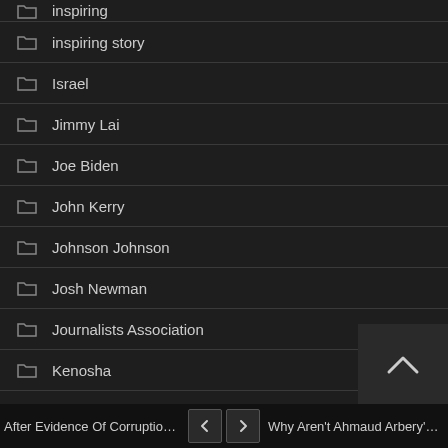inspiring
inspiring story
Israel
Jimmy Lai
Joe Biden
John Kerry
Johnson Johnson
Josh Newman
Journalists Association
Kenosha
Kroger
L.A. County
Laguna Hills
Laguna Hills city council
After Evidence Of Corruption, D... < > Why Aren't Ahmaud Arbery's Mu...